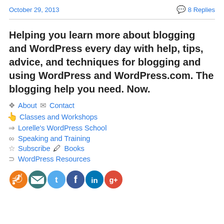October 29, 2013    💬 8 Replies
Helping you learn more about blogging and WordPress every day with help, tips, advice, and techniques for blogging and using WordPress and WordPress.com. The blogging help you need. Now.
❖ About ✉ Contact
👆 Classes and Workshops
⇒ Lorelle's WordPress School
∞ Speaking and Training
☆ Subscribe 🖊 Books
⊃ WordPress Resources
[Figure (infographic): Row of 6 social media icons: RSS (orange), email (teal/dark), Twitter (light blue), Facebook (blue), LinkedIn (dark blue/teal), Google+ (red/multicolor)]